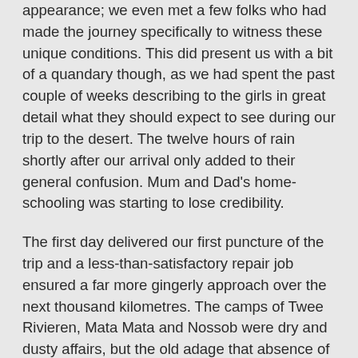appearance; we even met a few folks who had made the journey specifically to witness these unique conditions. This did present us with a bit of a quandary though, as we had spent the past couple of weeks describing to the girls in great detail what they should expect to see during our trip to the desert. The twelve hours of rain shortly after our arrival only added to their general confusion. Mum and Dad's home-schooling was starting to lose credibility.
The first day delivered our first puncture of the trip and a less-than-satisfactory repair job ensured a far more gingerly approach over the next thousand kilometres. The camps of Twee Rivieren, Mata Mata and Nossob were dry and dusty affairs, but the old adage that absence of phone reception usually correlates to more worthwhile places was once again substantiated, as we enjoyed the remoteness of these camps. Indeed, it was the general routine of camp life which provided most entertainment and even included regular athletic meetings in an attempt to burn some energy after the daily drives. Astonishingly, no one else was keen to join in.
The Kgalagadi Transfrontier Park straddles South Africa, Botswana